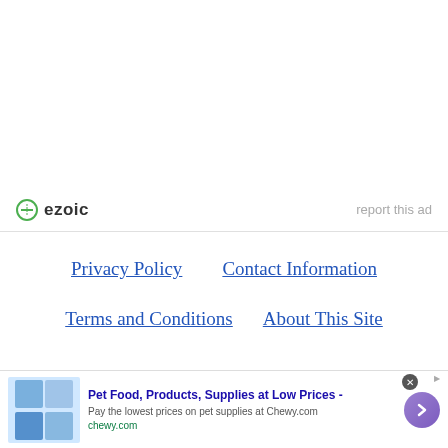[Figure (logo): Ezoic logo with green circular icon and bold text 'ezoic', with 'report this ad' text on the right]
Privacy Policy   Contact Information
Terms and Conditions   About This Site
© 2023 Copyright...
[Figure (screenshot): Chewy.com advertisement banner: Pet Food, Products, Supplies at Low Prices - Pay the lowest prices on pet supplies at Chewy.com]